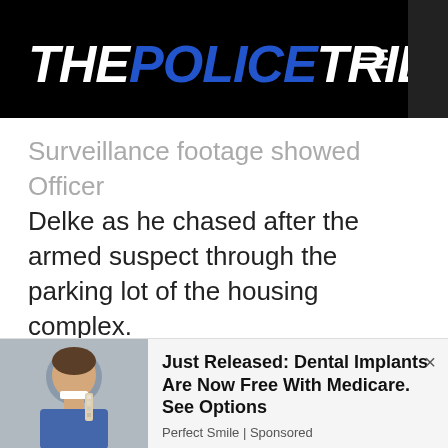THE POLICE TRIBUNE
Surveillance footage showed Officer Delke as he chased after the armed suspect through the parking lot of the housing complex.
A different camera angle showed Hambrick as he rounded a corner and sprinted across lawns with the officer following close behind.
Officer Delke repeatedly ordered
[Figure (photo): Person looking up with teeth visible, holding dental shade guide]
Just Released: Dental Implants Are Now Free With Medicare. See Options
Perfect Smile | Sponsored